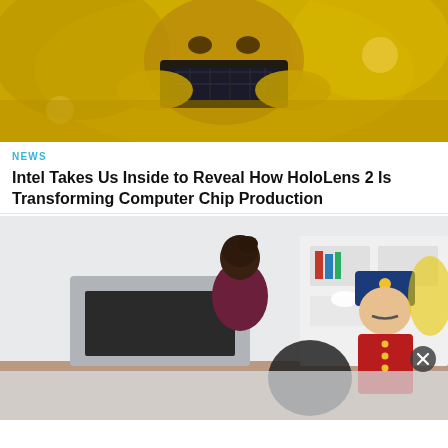[Figure (photo): Person in yellow cleanroom suit holding a dark computer chip up to their face, golden/yellow toned lighting]
NEWS
Intel Takes Us Inside to Reveal How HoloLens 2 Is Transforming Computer Chip Production
[Figure (photo): Woman in dark top looking at a toy soldier robot figure in a living room setting; another blurred figure in foreground]